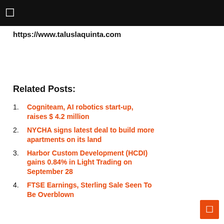https://www.taluslaquinta.com
Related Posts:
Cogniteam, AI robotics start-up, raises $ 4.2 million
NYCHA signs latest deal to build more apartments on its land
Harbor Custom Development (HCDI) gains 0.84% in Light Trading on September 28
FTSE Earnings, Sterling Sale Seen To Be Overblown